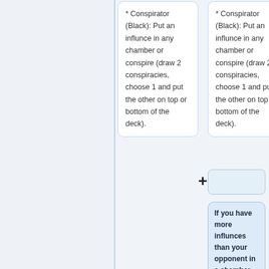* Conspirator (Black): Put an influnce in any chamber or conspire (draw 2 conspiracies, choose 1 and put the other on top or bottom of the deck).
* Conspirator (Black): Put an influnce in any chamber or conspire (draw 2 conspiracies, choose 1 and put the other on top or bottom of the deck).
If you have more influnces than your opponent in a chamber, you control the chamber and have the power of the decree in it. However, you